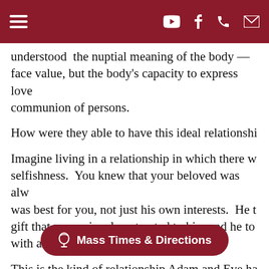Navigation bar with hamburger menu and social/contact icons
understood the nuptial meaning of the body — face value, but the body's capacity to express love communion of persons.
How were they able to have this ideal relationshi
Imagine living in a relationship in which there w selfishness. You knew that your beloved was alw was best for you, not just his own interests. He t gift that was uniquely entrusted to him and he to with a profound sense of responsibility.
This is the kind of relationship Adam and Eve ha Before the Fall, had self-mastery over their passions and appeti
[Figure (other): Mass Times & Directions call-to-action button with chalice icon]